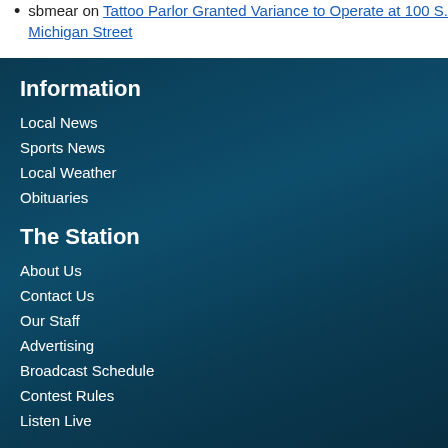sbmear on Tattoo Parlor Granted Variance to Operate at 100 S. Michigan Street
Information
Local News
Sports News
Local Weather
Obituaries
The Station
About Us
Contact Us
Our Staff
Advertising
Broadcast Schedule
Contest Rules
Listen Live